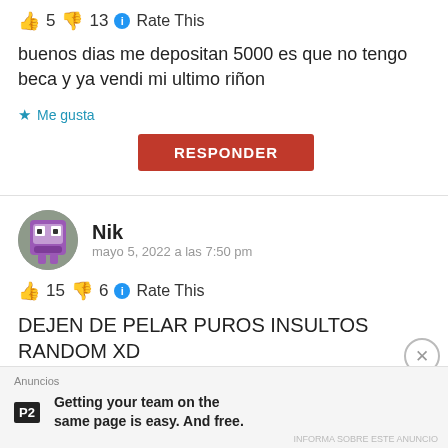👍 5 👎 13 ℹ Rate This
buenos dias me depositan 5000 es que no tengo beca y ya vendi mi ultimo riñon
★ Me gusta
RESPONDER
[Figure (photo): User avatar for Nik — pixelated purple/grey character icon]
Nik
mayo 5, 2022 a las 7:50 pm
👍 15 👎 6 ℹ Rate This
DEJEN DE PELAR PUROS INSULTOS RANDOM XD
Anuncios
P2 Getting your team on the same page is easy. And free.
INFORMA SOBRE ESTE ANUNCIO